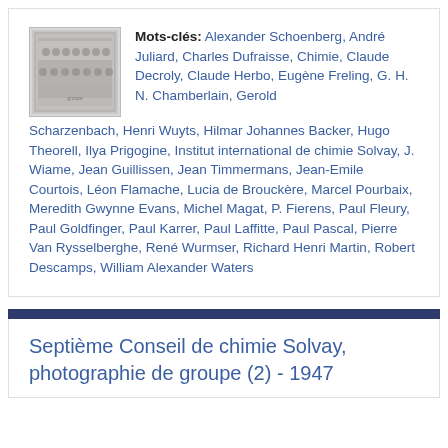[Figure (photo): Small black and white group photograph, appears to be a formal group portrait]
Mots-clés: Alexander Schoenberg, André Juliard, Charles Dufraisse, Chimie, Claude Decroly, Claude Herbo, Eugène Freling, G. H. N. Chamberlain, Gerold Scharzenbach, Henri Wuyts, Hilmar Johannes Backer, Hugo Theorell, Ilya Prigogine, Institut international de chimie Solvay, J. Wiame, Jean Guillissen, Jean Timmermans, Jean-Emile Courtois, Léon Flamache, Lucia de Brouckère, Marcel Pourbaix, Meredith Gwynne Evans, Michel Magat, P. Fierens, Paul Fleury, Paul Goldfinger, Paul Karrer, Paul Laffitte, Paul Pascal, Pierre Van Rysselberghe, René Wurmser, Richard Henri Martin, Robert Descamps, William Alexander Waters
Septième Conseil de chimie Solvay, photographie de groupe (2) - 1947